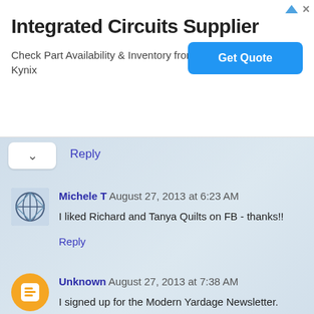[Figure (screenshot): Advertisement banner for Integrated Circuits Supplier from Kynix with Get Quote button]
Reply
Michele T  August 27, 2013 at 6:23 AM
I liked Richard and Tanya Quilts on FB - thanks!!
Reply
Unknown  August 27, 2013 at 7:38 AM
I signed up for the Modern Yardage Newsletter.
thelady at hotmail.com
Reply
Unknown  August 27, 2013 at 7:40 AM